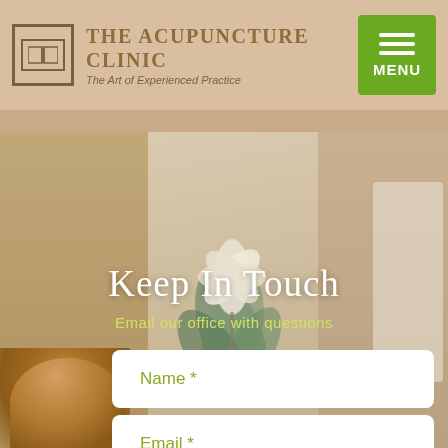THE ACUPUNCTURE CLINIC — The Art of Experienced Practice
[Figure (screenshot): Website screenshot of The Acupuncture Clinic contact page with floral wall art background, Keep In Touch heading, and contact form fields for Name and Email]
Keep In Touch
Email our office with questions
Name *
Email *